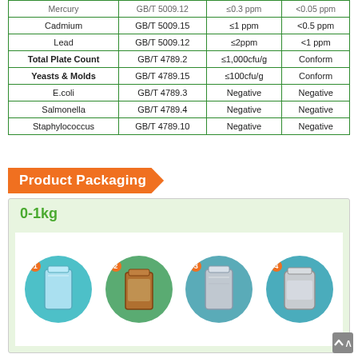|  | Test Method | Specification | Result |
| --- | --- | --- | --- |
| Mercury | GB/T 5009.12 | ≤0.3 ppm | <0.05 ppm |
| Cadmium | GB/T 5009.15 | ≤1 ppm | <0.5 ppm |
| Lead | GB/T 5009.12 | ≤2ppm | <1 ppm |
| Total Plate Count | GB/T 4789.2 | ≤1,000cfu/g | Conform |
| Yeasts & Molds | GB/T 4789.15 | ≤100cfu/g | Conform |
| E.coli | GB/T 4789.3 | Negative | Negative |
| Salmonella | GB/T 4789.4 | Negative | Negative |
| Staphylococcus | GB/T 4789.10 | Negative | Negative |
Product Packaging
0-1kg
[Figure (photo): Four circular images showing different product packaging types (1-4): blue bag, brown powder bag, silver/foil bag, silver sealed bag]